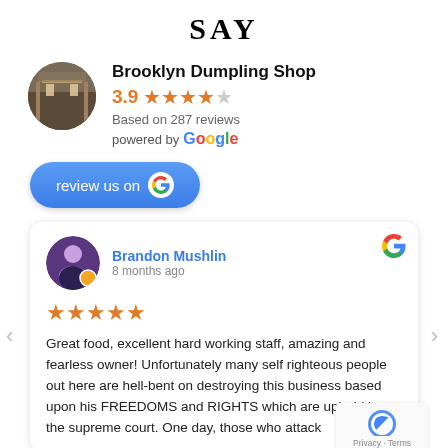SAY
Brooklyn Dumpling Shop
3.9 ★★★½☆
Based on 287 reviews
powered by Google
review us on G
Brandon Mushlin
8 months ago
★★★★★
Great food, excellent hard working staff, amazing and fearless owner! Unfortunately many self righteous people out here are hell-bent on destroying this business based upon his FREEDOMS and RIGHTS which are upheld by the supreme court. One day, those who attack